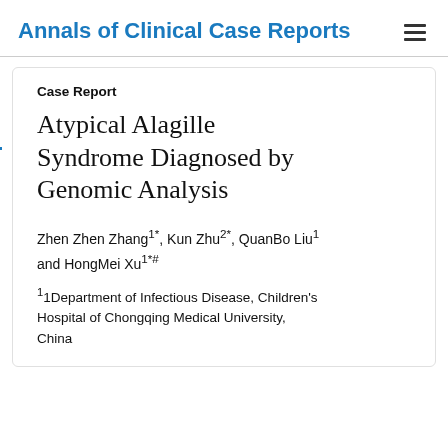Annals of Clinical Case Reports
Case Report
Atypical Alagille Syndrome Diagnosed by Genomic Analysis
Zhen Zhen Zhang1*, Kun Zhu2*, QuanBo Liu1 and HongMei Xu1*#
1 1Department of Infectious Disease, Children's Hospital of Chongqing Medical University, China